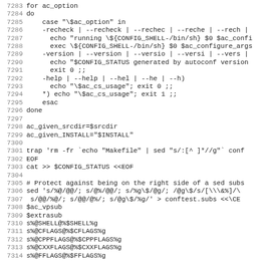Source code listing, lines 7283-7314, shell script (configure/config.status generation)